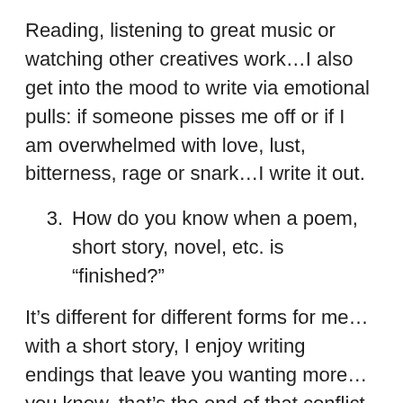Reading, listening to great music or watching other creatives work…I also get into the mood to write via emotional pulls: if someone pisses me off or if I am overwhelmed with love, lust, bitterness, rage or snark…I write it out.
3. How do you know when a poem, short story, novel, etc. is “finished?”
It’s different for different forms for me…with a short story, I enjoy writing endings that leave you wanting more…you know, that’s the end of that conflict, but there’s something lingering or something that makes a reader wish the story went on. A poem, I know it’s done when I’ve conveyed the message in a way that vibrates…like the message echoes in the head of the reader. It’s difficult to pull that off, at least it is to me, so sometimes I will leave a poem